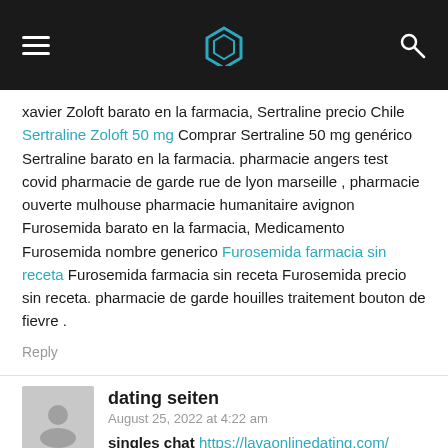[Navigation bar with hamburger menu, logo icon, and search icon]
xavier Zoloft barato en la farmacia, Sertraline precio Chile Sertraline Zoloft 50 mg Comprar Sertraline 50 mg genérico Sertraline barato en la farmacia. pharmacie angers test covid pharmacie de garde rue de lyon marseille , pharmacie ouverte mulhouse pharmacie humanitaire avignon Furosemida barato en la farmacia, Medicamento Furosemida nombre generico Furosemida farmacia sin receta Furosemida farmacia sin receta Furosemida precio sin receta. pharmacie de garde houilles traitement bouton de fievre .
Reply
dating seiten
August 25, 2022 at 4:22 am
singles chat https://lavaonlinedating.com/
Reply